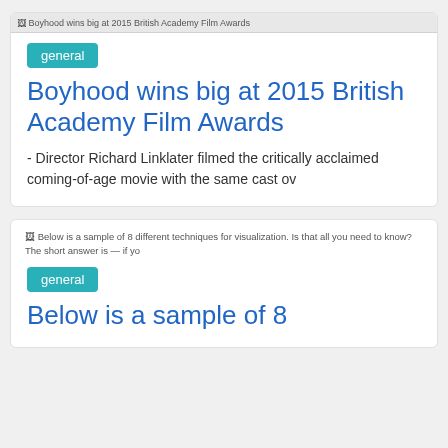[Figure (photo): Broken image placeholder for Boyhood wins big at 2015 British Academy Film Awards]
general
Boyhood wins big at 2015 British Academy Film Awards
- Director Richard Linklater filmed the critically acclaimed coming-of-age movie with the same cast ov
[Figure (photo): Broken image placeholder: Below is a sample of 8 different techniques for visualization. Is that all you need to know? The short answer is — if yo]
general
Below is a sample of 8